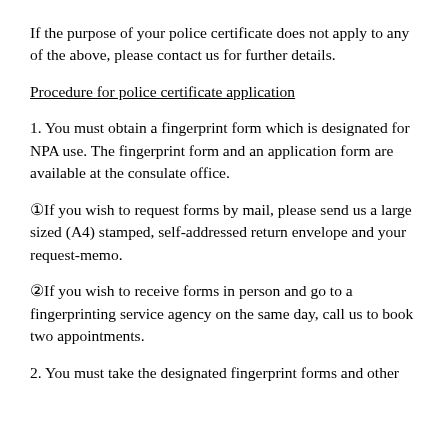If the purpose of your police certificate does not apply to any of the above, please contact us for further details.
Procedure for police certificate application
1. You must obtain a fingerprint form which is designated for NPA use. The fingerprint form and an application form are available at the consulate office.
①If you wish to request forms by mail, please send us a large sized (A4) stamped, self-addressed return envelope and your request-memo.
②If you wish to receive forms in person and go to a fingerprinting service agency on the same day, call us to book two appointments.
2. You must take the designated fingerprint forms and other